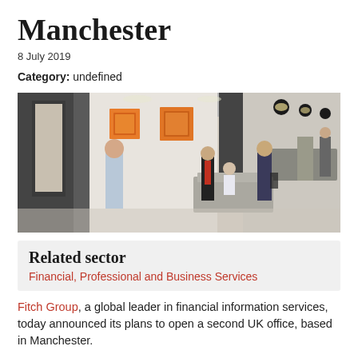Manchester
8 July 2019
Category: undefined
[Figure (photo): Interior of a modern office lobby with people walking and sitting. Orange artworks on the wall, pendant lighting, reception desk in background.]
Related sector
Financial, Professional and Business Services
Fitch Group, a global leader in financial information services, today announced its plans to open a second UK office, based in Manchester.